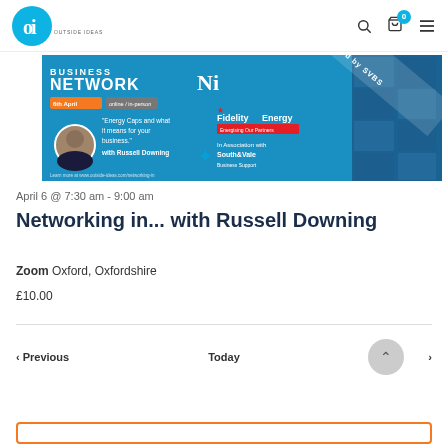Oi Outside Ideas — navigation bar with logo, search, cart (0), menu icons
[Figure (photo): Business Network Ni event banner with Russell Downing, Fidelity Energy, South & Vale Business Support logos and speaker headshot. Text reads: BUSINESS NETWORK, Ni, 6th April, online/in-person, Energy Caps and what it means for your business. with Russell Downing, In Association with South & Vale Business Support, powered by SVBS]
April 6 @ 7:30 am - 9:00 am
Networking in... with Russell Downing
Zoom Oxford, Oxfordshire
£10.00
< Previous    Today    ^ Next >